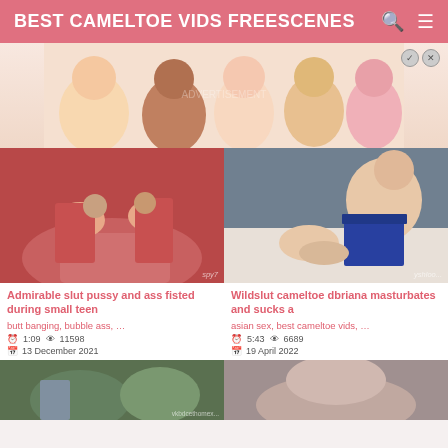BEST CAMELTOE VIDS FREESCENES
[Figure (illustration): Anime-style advertisement banner with multiple female anime characters]
[Figure (photo): Video thumbnail - close up of person in red/pink pants]
Admirable slut pussy and ass fisted during small teen
butt banging, bubble ass, ...
1:09  11598  13 December 2021
[Figure (photo): Video thumbnail - person in blue skirt on bed]
Wildslut cameltoe dbriana masturbates and sucks a
asian sex, best cameltoe vids, ...
5:43  6689  19 April 2022
[Figure (photo): Video thumbnail bottom left - outdoor scene]
[Figure (photo): Video thumbnail bottom right - close up]